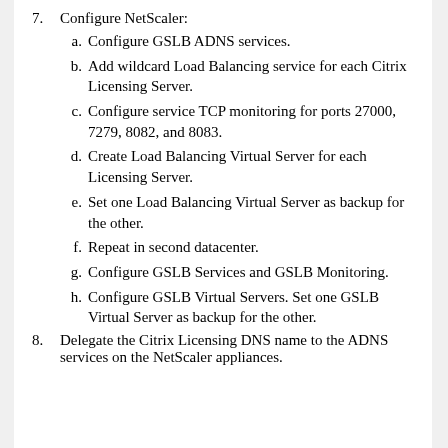7. Configure NetScaler:
a. Configure GSLB ADNS services.
b. Add wildcard Load Balancing service for each Citrix Licensing Server.
c. Configure service TCP monitoring for ports 27000, 7279, 8082, and 8083.
d. Create Load Balancing Virtual Server for each Licensing Server.
e. Set one Load Balancing Virtual Server as backup for the other.
f. Repeat in second datacenter.
g. Configure GSLB Services and GSLB Monitoring.
h. Configure GSLB Virtual Servers. Set one GSLB Virtual Server as backup for the other.
8. Delegate the Citrix Licensing DNS name to the ADNS services on the NetScaler appliances.